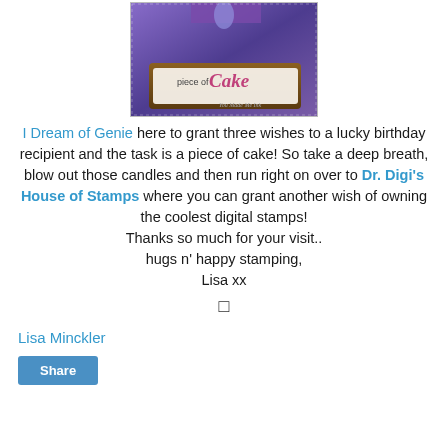[Figure (photo): A decorated birthday card or stamp featuring 'piece of Cake' text in script, with purple ribbon and brown cake base. Watermark 'You Made Me Ink' at bottom right.]
I Dream of Genie here to grant three wishes to a lucky birthday recipient and the task is a piece of cake! So take a deep breath, blow out those candles and then run right on over to Dr. Digi's House of Stamps where you can grant another wish of owning the coolest digital stamps!
Thanks so much for your visit..
hugs n' happy stamping,
Lisa xx
☐
Lisa Minckler
Share